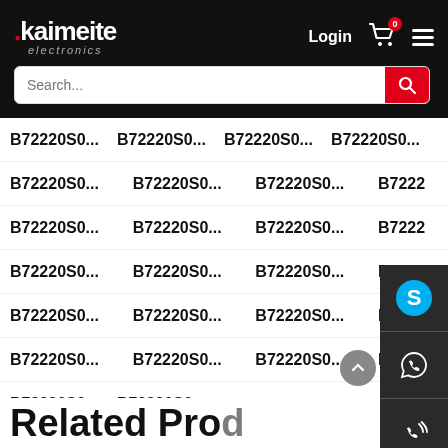[Figure (screenshot): Kaimeite Electronics website header with logo, Login link, cart icon with badge showing 0, and hamburger menu icon on black background. Below is a search bar with red search button.]
B72220S0... B72220S0... B72220S0... B72220S0...
B72220S0... B72220S0... B72220S0... B7222...
B72220S0... B72220S0... B72220S0... B7222...
B72220S0... B72220S0... B72220S0... B7222...
B72220S0... B72220S0... B72220S0... B7222...
B72220S0... B72220S0... B72220S0... B7222...
B72220S0... B72220S0...
[Figure (infographic): Right sidebar with dark background containing Skype icon (S), WhatsApp icon (phone with signal), phone with wifi icon, and email icon. Also a QR code at the bottom.]
Related Products